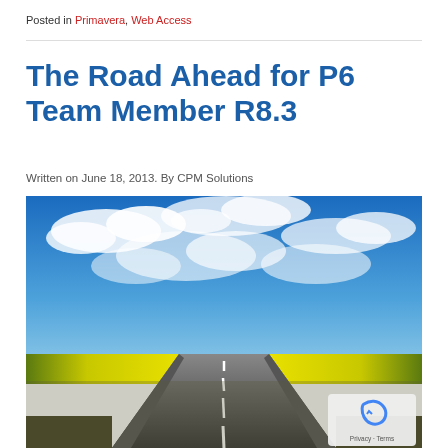Posted in Primavera, Web Access
The Road Ahead for P6 Team Member R8.3
Written on June 18, 2013. By CPM Solutions
[Figure (photo): A straight road stretching into the horizon flanked by yellow flowering fields under a dramatic blue sky with white clouds. A privacy / reCAPTCHA badge appears in the bottom-right corner.]